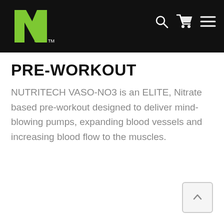[Figure (logo): NutriTech N1 logo - green stylized N with lightning bolt on black background header bar with search, cart, and menu icons]
PRE-WORKOUT
NUTRITECH VASO-NO3 is an ELITE, Nitrate based pre-workout designed to deliver mind-blowing pumps, expanding blood vessels and increasing blood flow to the muscles.